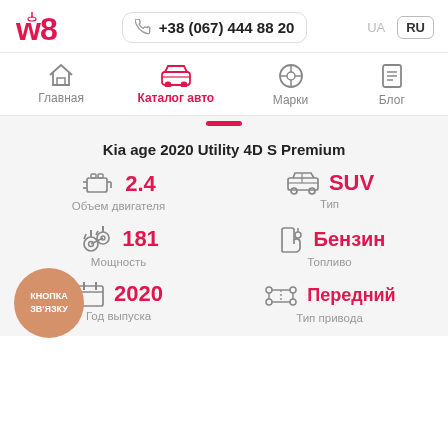w8 | +38 (067) 444 88 20 | UA | RU
Главная | Каталог авто | Марки | Блог
Kia age 2020 Utility 4D S Premium
2.4 — Объем двигателя
SUV — Тип
181 — Мощность
Бензин — Топливо
2020 — Год выпуска
Передний — Тип привода
КНОПКА ЗВ'ЯЗКУ